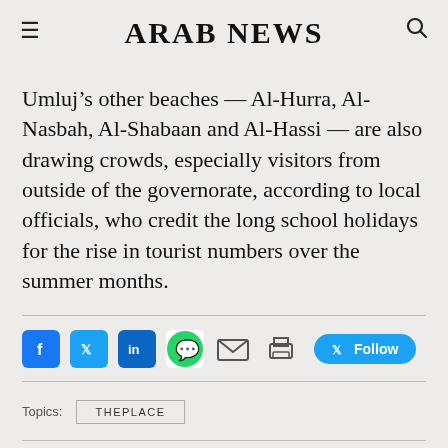ARAB NEWS
Umluj’s other beaches — Al-Hurra, Al-Nasbah, Al-Shabaan and Al-Hassi — are also drawing crowds, especially visitors from outside of the governorate, according to local officials, who credit the long school holidays for the rise in tourist numbers over the summer months.
[Figure (other): Social media sharing bar with Facebook, Twitter, LinkedIn, WhatsApp, Email, Print icons and a Twitter Follow button]
Topics: THEPLACE